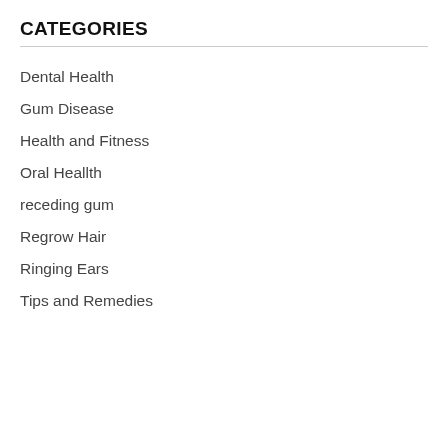CATEGORIES
Dental Health
Gum Disease
Health and Fitness
Oral Heallth
receding gum
Regrow Hair
Ringing Ears
Tips and Remedies